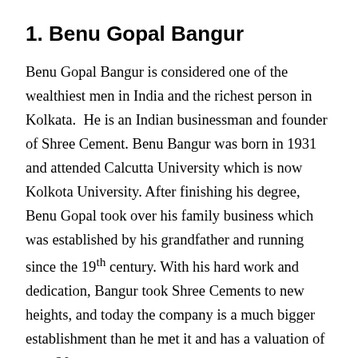1. Benu Gopal Bangur
Benu Gopal Bangur is considered one of the wealthiest men in India and the richest person in Kolkata.  He is an Indian businessman and founder of Shree Cement. Benu Bangur was born in 1931 and attended Calcutta University which is now Kolkota University. After finishing his degree, Benu Gopal took over his family business which was established by his grandfather and running since the 19th century. With his hard work and dedication, Bangur took Shree Cements to new heights, and today the company is a much bigger establishment than he met it and has a valuation of over 20